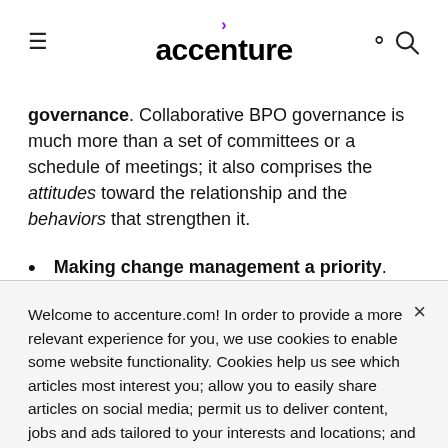accenture
governance. Collaborative BPO governance is much more than a set of committees or a schedule of meetings; it also comprises the attitudes toward the relationship and the behaviors that strengthen it.
Making change management a priority. High performers execute carefully planned
Welcome to accenture.com! In order to provide a more relevant experience for you, we use cookies to enable some website functionality. Cookies help us see which articles most interest you; allow you to easily share articles on social media; permit us to deliver content, jobs and ads tailored to your interests and locations; and provide many other site benefits. For more information, please review our Cookies Policy and Privacy Statement.